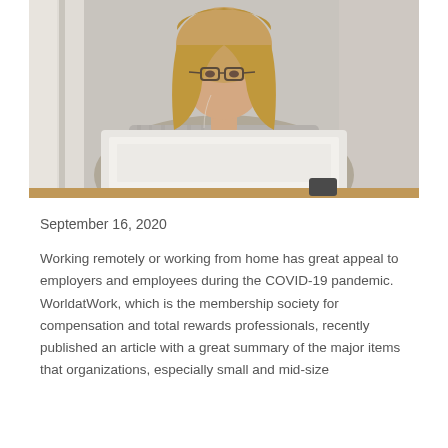[Figure (photo): Woman with glasses and blonde hair sitting at a desk working on a white laptop, wearing a striped shirt, viewed from slightly above and in front]
September 16, 2020
Working remotely or working from home has great appeal to employers and employees during the COVID-19 pandemic. WorldatWork, which is the membership society for compensation and total rewards professionals, recently published an article with a great summary of the major items that organizations, especially small and mid-size